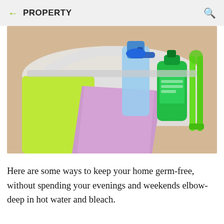PROPERTY
[Figure (photo): Cleaning supplies including a blue spray bottle, green dish soap bottle, green and pink microfiber cloths, and a green scrubbing brush in a white basket]
Here are some ways to keep your home germ-free, without spending your evenings and weekends elbow-deep in hot water and bleach.